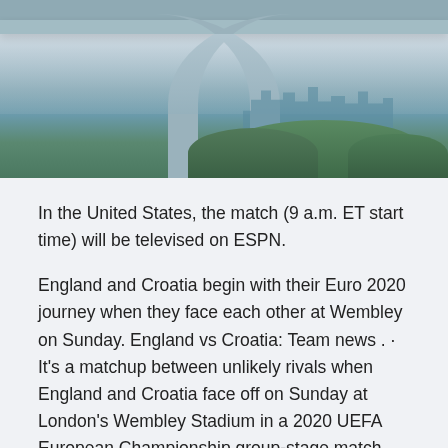[Figure (photo): Underside view of a large highway bridge with concrete arches curving upward, with a city skyline and green trees visible in the background under a pale pink-grey sky.]
In the United States, the match (9 a.m. ET start time) will be televised on ESPN.
England and Croatia begin with their Euro 2020 journey when they face each other at Wembley on Sunday. England vs Croatia: Team news . · It's a matchup between unlikely rivals when England and Croatia face off on Sunday at London's Wembley Stadium in a 2020 UEFA European Championship group-stage match. The quadrennial tournament is starting almost a year late because of the pandemic.